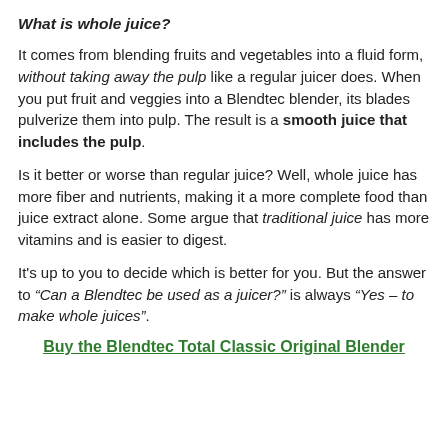What is whole juice?
It comes from blending fruits and vegetables into a fluid form, without taking away the pulp like a regular juicer does. When you put fruit and veggies into a Blendtec blender, its blades pulverize them into pulp. The result is a smooth juice that includes the pulp.
Is it better or worse than regular juice? Well, whole juice has more fiber and nutrients, making it a more complete food than juice extract alone. Some argue that traditional juice has more vitamins and is easier to digest.
It's up to you to decide which is better for you. But the answer to “Can a Blendtec be used as a juicer?” is always “Yes – to make whole juices”.
Buy the Blendtec Total Classic Original Blender